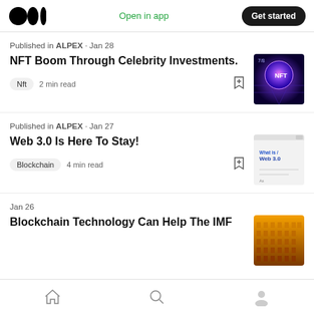Medium app header — Open in app | Get started
Published in ALPEX · Jan 28
NFT Boom Through Celebrity Investments.
Nft  2 min read
[Figure (photo): NFT glowing sphere thumbnail image]
Published in ALPEX · Jan 27
Web 3.0 Is Here To Stay!
Blockchain  4 min read
[Figure (screenshot): Web 3.0 article thumbnail]
Jan 26
Blockchain Technology Can Help The IMF
[Figure (photo): City buildings photo thumbnail]
Home | Search | Profile — bottom navigation